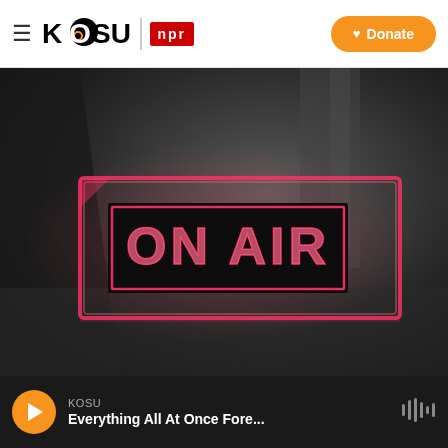KOSU | NPR — Donate
[Figure (photo): A glowing red neon 'ON AIR' sign in a dark studio setting, with pinkish-red illuminated border on a dark acrylic panel.]
KOSU
Everything All At Once Fore...